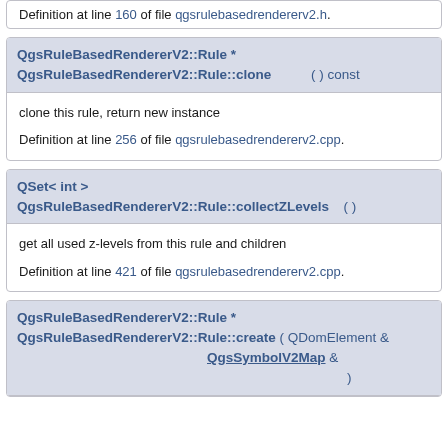Definition at line 160 of file qgsrulebasedrendererv2.h.
QgsRuleBasedRendererV2::Rule * QgsRuleBasedRendererV2::Rule::clone ( ) const
clone this rule, return new instance
Definition at line 256 of file qgsrulebasedrendererv2.cpp.
QSet< int > QgsRuleBasedRendererV2::Rule::collectZLevels ( )
get all used z-levels from this rule and children
Definition at line 421 of file qgsrulebasedrendererv2.cpp.
QgsRuleBasedRendererV2::Rule * QgsRuleBasedRendererV2::Rule::create ( QDomElement & QgsSymbolV2Map & )